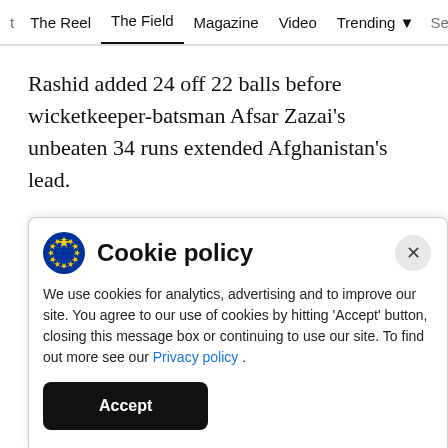t  The Reel  The Field  Magazine  Video  Trending  Se
Rashid added 24 off 22 balls before wicketkeeper-batsman Afsar Zazai's unbeaten 34 runs extended Afghanistan's lead.
Skipper Shakib Al Hasan took three wickets for Bangladesh, including two in the first over of the innings, but Zadran and Afghan shared 108 runs for
Cookie policy
We use cookies for analytics, advertising and to improve our site. You agree to our use of cookies by hitting 'Accept' button, closing this message box or continuing to use our site. To find out more see our Privacy policy .
Accept